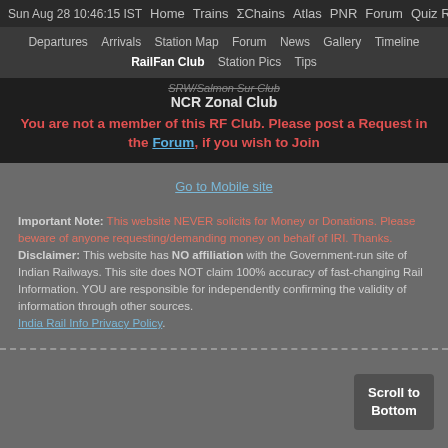Sun Aug 28 10:46:15 IST  Home  Trains  ΣChains  Atlas  PNR  Forum  Quiz R
Departures  Arrivals  Station Map  Forum  News  Gallery  Timeline  RailFan Club  Station Pics  Tips
SRW/Salmon Sur Club
NCR Zonal Club
You are not a member of this RF Club. Please post a Request in the Forum, if you wish to Join
Go to Mobile site
Important Note: This website NEVER solicits for Money or Donations. Please beware of anyone requesting/demanding money on behalf of IRI. Thanks. Disclaimer: This website has NO affiliation with the Government-run site of Indian Railways. This site does NOT claim 100% accuracy of fast-changing Rail Information. YOU are responsible for independently confirming the validity of information through other sources. India Rail Info Privacy Policy.
Scroll to Bottom